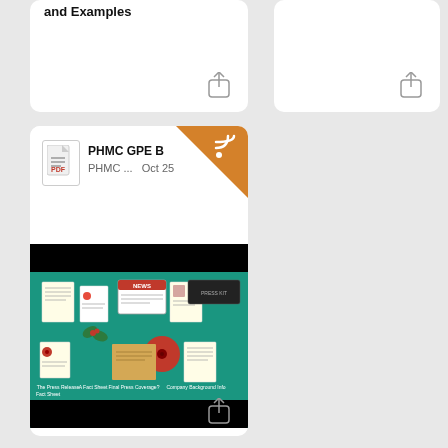and Examples
[Figure (screenshot): Top-left card partial showing title 'and Examples' with a share icon at the bottom right]
[Figure (screenshot): Top-right card partial, mostly empty white card with a share icon at the bottom right]
[Figure (screenshot): Main content card showing PHMC GPE Blog source header with RSS badge (orange triangle), document icon, 'PHMC...' and 'Oct 25' metadata, followed by a green-background infographic about press kits showing various elements like press releases, fact sheets, and media coverage items]
What is a Press Kit and How to create an efficient one?